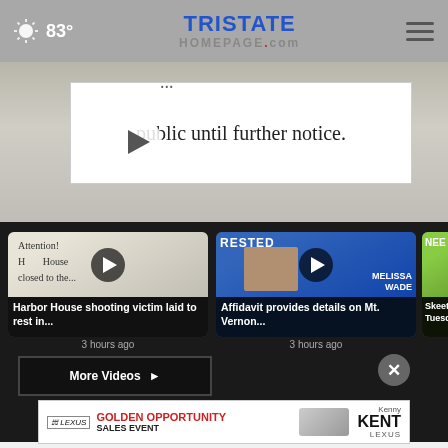83° Tristate Homepage.com
[Figure (screenshot): Hero image showing a handwritten sign reading 'public until further notice.' with a play button overlay]
[Figure (screenshot): Video thumbnail showing sign reading 'Attention! House is closed to the...' with play button]
Harbor House shooting victim laid to rest in... 3 hours ago
[Figure (screenshot): Video thumbnail showing ARRESTED banner with mugshot and text MELISSA WADE with play button]
Affidavit provides details on Mt. Vernon... 3 hours ago
[Figure (screenshot): Partially visible third video card with green background]
Skeet... Tuesd...
More Videos ▶
[Figure (advertisement): Lexus Golden Opportunity Sales Event ad for Kenny Kent Lexus]